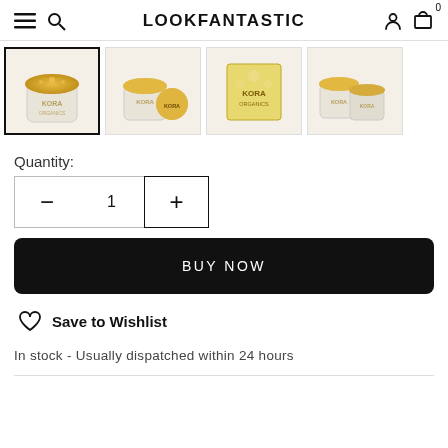LOOKFANTASTIC
[Figure (photo): Four product thumbnail images of KORA Organics skincare jar with gold lid, showing: jar front, jar with open lid, product box, and two jars together]
Quantity:
1
BUY NOW
Save to Wishlist
In stock - Usually dispatched within 24 hours